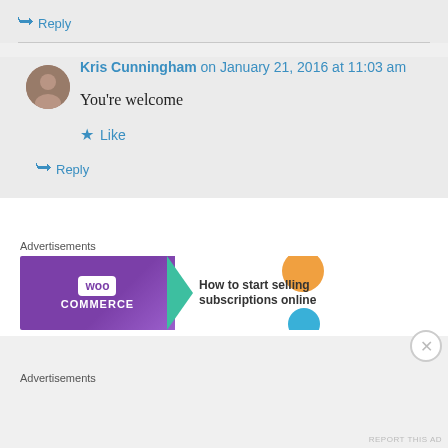↳ Reply
Kris Cunningham on January 21, 2016 at 11:03 am
You're welcome
★ Like
↳ Reply
Advertisements
[Figure (illustration): WooCommerce advertisement banner: purple background with WooCommerce logo on left and text 'How to start selling subscriptions online' on right with colorful accent shapes]
Advertisements